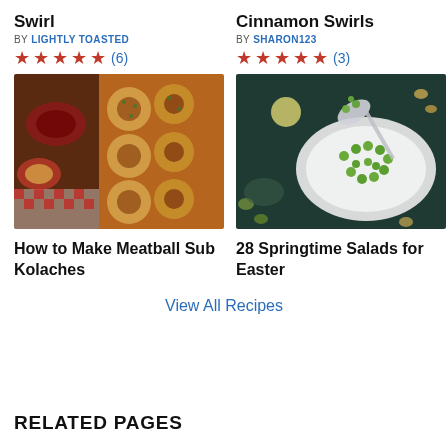Swirl
BY LIGHTLY TOASTED
★★★★★ (6)
[Figure (photo): Meatball sub kolaches on a baking tray with herbs, alongside prep ingredients]
How to Make Meatball Sub Kolaches
Cinnamon Swirls
BY SHARON123
★★★★★ (3)
[Figure (photo): Springtime salad with peas and lemon on a plate, being served with a spoon]
28 Springtime Salads for Easter
View All Recipes
RELATED PAGES